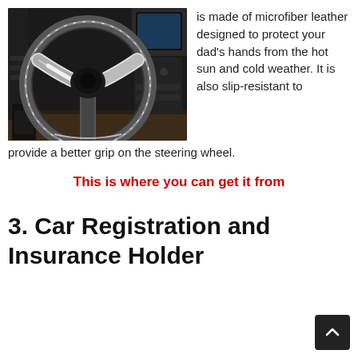[Figure (photo): Car interior showing a black and white steering wheel with BMW-style design, dashboard, and center console visible in background.]
is made of microfiber leather designed to protect your dad's hands from the hot sun and cold weather. It is also slip-resistant to provide a better grip on the steering wheel.
This is where you can get it from
3. Car Registration and Insurance Holder